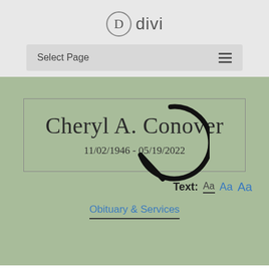[Figure (logo): Divi logo with circle D icon and 'divi' text]
Select Page
Cheryl A. Conover
11/02/1946 - 05/19/2022
Text: Aa Aa Aa
Obituary & Services